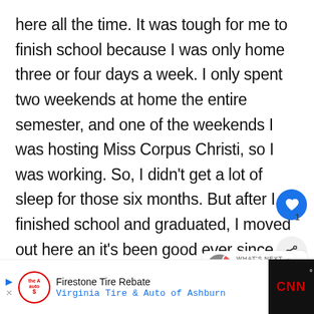here all the time. It was tough for me to finish school because I was only home three or four days a week. I only spent two weekends at home the entire semester, and one of the weekends I was hosting Miss Corpus Christi, so I was working. So, I didn't get a lot of sleep for those six months. But after I finished school and graduated, I moved out here and it's been good ever since. Are you actively pursuing modeling right now? What have you been up to in LA? I do a lot of
[Figure (screenshot): Mobile UI overlay with heart button (blue circle), share button (grey circle with share icon), count '1', and a 'WHAT'S NEXT' card showing 'Exclusive Interview:...' with a Buddy circle avatar]
[Figure (screenshot): Advertisement banner: Firestone Tire Rebate - Virginia Tire & Auto of Ashburn, with play/close icons, Firestone auto logo, and blue direction arrow icon. CNN logo on dark background at right.]